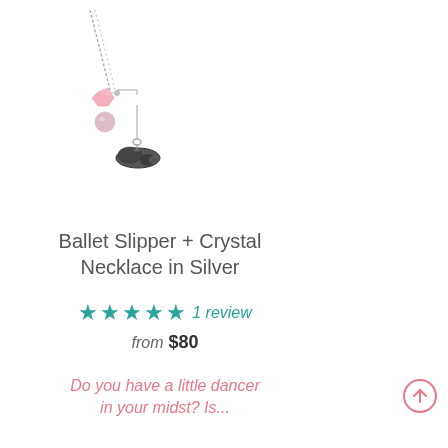[Figure (photo): A silver necklace with a ballet slipper charm, a pink crystal bead, and a pearl bead hanging from a silver chain, photographed on a white background.]
Ballet Slipper + Crystal Necklace in Silver
★★★★★ 1 review
from $80
Do you have a little dancer in your midst? Is...